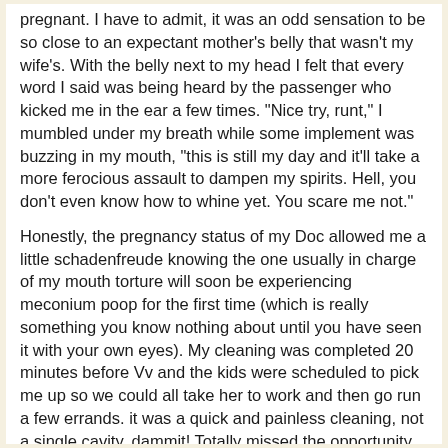pregnant. I have to admit, it was an odd sensation to be so close to an expectant mother's belly that wasn't my wife's. With the belly next to my head I felt that every word I said was being heard by the passenger who kicked me in the ear a few times. "Nice try, runt," I mumbled under my breath while some implement was buzzing in my mouth, "this is still my day and it'll take a more ferocious assault to dampen my spirits. Hell, you don't even know how to whine yet. You scare me not."
Honestly, the pregnancy status of my Doc allowed me a little schadenfreude knowing the one usually in charge of my mouth torture will soon be experiencing meconium poop for the first time (which is really something you know nothing about until you have seen it with your own eyes). My cleaning was completed 20 minutes before Vv and the kids were scheduled to pick me up so we could all take her to work and then go run a few errands. it was a quick and painless cleaning, not a single cavity, dammit! Totally missed the opportunity for a follow-up appointment; rookie move on my part. Since I had some free time, I half walked half skipped to the corner coffee house and had myself a large